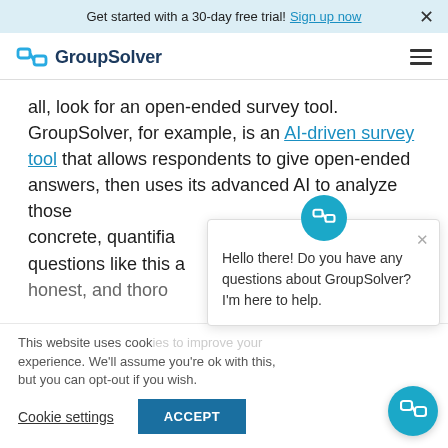Get started with a 30-day free trial! Sign up now  ×
[Figure (logo): GroupSolver logo with teal chain-link icon and dark navy text]
all, look for an open-ended survey tool. GroupSolver, for example, is an AI-driven survey tool that allows respondents to give open-ended answers, then uses its advanced AI to analyze those concrete, quantifiable questions like this a honest, and thorou
Hello there! Do you have any questions about GroupSolver? I'm here to help.
This website uses cookies to improve your experience. We'll assume you're ok with this, but you can opt-out if you wish.
Cookie settings   ACCEPT